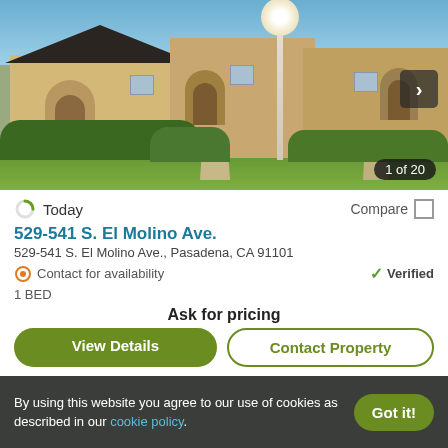[Figure (photo): Exterior photo of apartment complex at 529-541 S. El Molino Ave., Pasadena — beige/tan stucco buildings with arched entries, landscaping, green lawn, lamp post, blue sky. Shows '1 of 20' counter.]
Today
Compare
529-541 S. El Molino Ave.
529-541 S. El Molino Ave., Pasadena, CA 91101
Contact for availability
Verified
1 BED
Ask for pricing
View Details
Contact Property
By using this website you agree to our use of cookies as described in our cookie policy.
Got it!